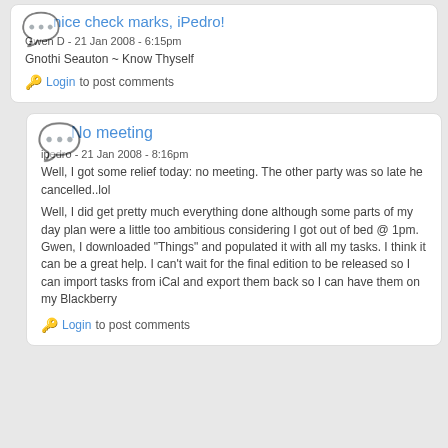nice check marks, iPedro!
Gwen D - 21 Jan 2008 - 6:15pm
Gnothi Seauton ~ Know Thyself
Login to post comments
No meeting
ipedro - 21 Jan 2008 - 8:16pm
Well, I got some relief today: no meeting. The other party was so late he cancelled..lol

Well, I did get pretty much everything done although some parts of my day plan were a little too ambitious considering I got out of bed @ 1pm.
Gwen, I downloaded "Things" and populated it with all my tasks. I think it can be a great help. I can't wait for the final edition to be released so I can import tasks from iCal and export them back so I can have them on my Blackberry
Login to post comments